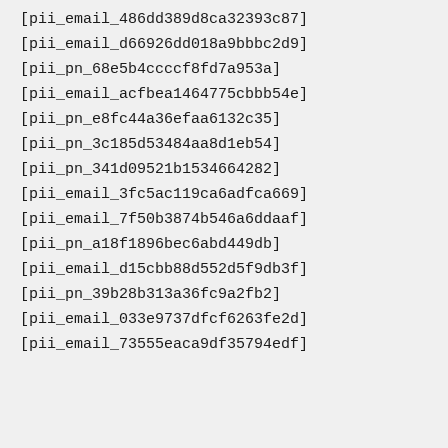[pii_email_486dd389d8ca32393c87]
[pii_email_d66926dd018a9bbbc2d9]
[pii_pn_68e5b4ccccf8fd7a953a]
[pii_email_acfbea1464775cbbb54e]
[pii_pn_e8fc44a36efaa6132c35]
[pii_pn_3c185d53484aa8d1eb54]
[pii_pn_341d09521b1534664282]
[pii_email_3fc5ac119ca6adfca669]
[pii_email_7f50b3874b546a6ddaaf]
[pii_pn_a18f1896bec6abd449db]
[pii_email_d15cbb88d552d5f9db3f]
[pii_pn_39b28b313a36fc9a2fb2]
[pii_email_033e9737dfcf6263fe2d]
[pii_email_73555eaca9df35794edf]